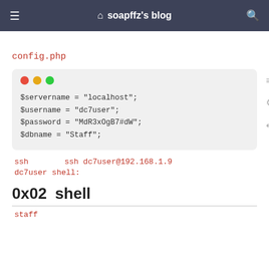soapffz's blog
config.php
[Figure (screenshot): Code block with macOS-style traffic light buttons (red, yellow, green) showing PHP configuration variables: $servername = "localhost"; $username = "dc7user"; $password = "MdR3xOgB7#dW"; $dbname = "Staff";]
ssh    ssh dc7user@192.168.1.9
dc7user   shell:
0x02   shell
staff